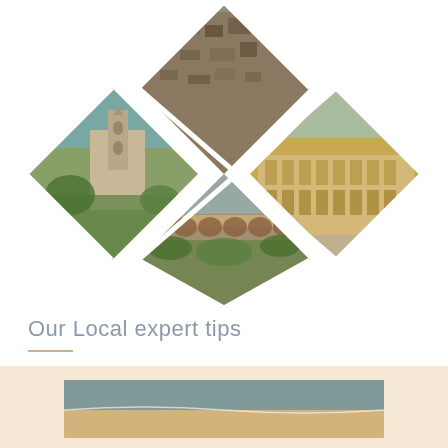[Figure (photo): Diamond-shaped collage of four travel photos arranged in a diamond pattern: top diamond shows aerial view of a historic city, left diamond shows a Romanesque church with bell tower, right diamond shows the Nîmes arena (Roman amphitheater), bottom diamond shows the Pont du Gard Roman aqueduct.]
Our Local expert tips
[Figure (photo): Partial view of a beach or coastal scene at the bottom of the page, cropped.]